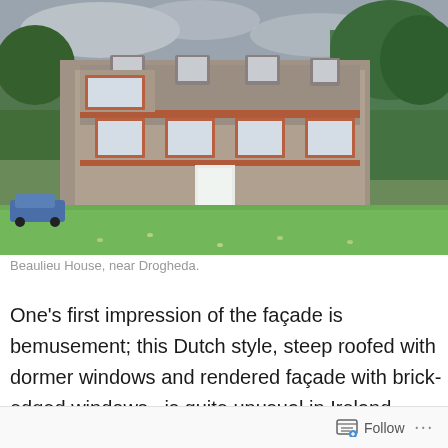[Figure (photo): Photograph of Beaulieu House near Drogheda, a Dutch-style country house with steep roof, dormer windows, brick-edged windows, and a rendered facade. A green lawn is in the foreground, trees in the background, and a car visible to the left.]
Beaulieu House, near Drogheda.
One's first impression of the façade is bemusement; this Dutch style, steep roofed with dormer windows and rendered façade with brick-edged windows,  is quite unusual in Ireland, predating the ubiquitous Irish Georgian country houses. It was constructed in the  1660s during the Restoration of Charles II to the English throne, with
Follow ···